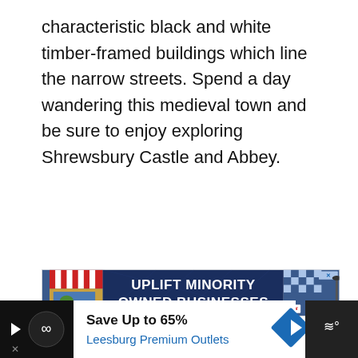characteristic black and white timber-framed buildings which line the narrow streets. Spend a day wandering this medieval town and be sure to enjoy exploring Shrewsbury Castle and Abbey.
[Figure (screenshot): Advertisement banner: 'UPLIFT MINORITY OWNED BUSINESSES' with dark blue background, illustrated storefront on left, checkerboard pattern on right, close button X in top right]
[Figure (screenshot): UI sidebar with gold heart button, 1.3K like count, and white share button]
[Figure (screenshot): What's Next panel showing England Itinerary: 7... with thumbnail image and orange arrow label]
[Figure (screenshot): Bottom advertisement bar: black left section with play arrow and infinity logo, white middle section with 'Save Up to 65%' and 'Leesburg Premium Outlets' in blue, blue diamond navigation icon, dark right section with speaker/audio icon]